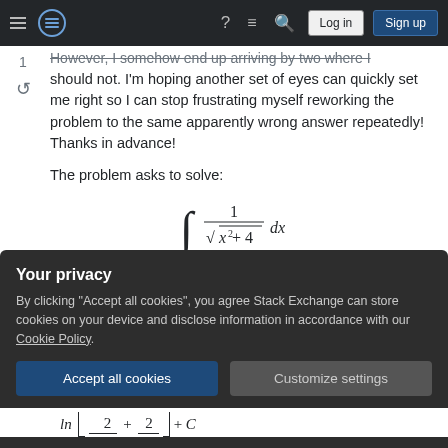Stack Exchange navigation bar with Log in and Sign up buttons
However, I somehow end up arriving by two where I should not. I'm hoping another set of eyes can quickly set me right so I can stop frustrating myself reworking the problem to the same apparently wrong answer repeatedly! Thanks in advance!
The problem asks to solve:
The answer is given as:
Your privacy
By clicking "Accept all cookies", you agree Stack Exchange can store cookies on your device and disclose information in accordance with our Cookie Policy.
Accept all cookies  Customize settings